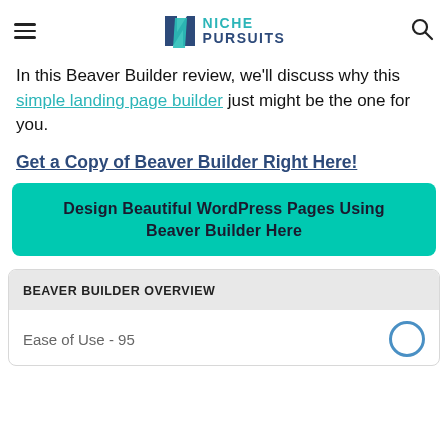Niche Pursuits (navigation bar with logo, hamburger menu, search icon)
In this Beaver Builder review, we'll discuss why this simple landing page builder just might be the one for you.
Get a Copy of Beaver Builder Right Here!
Design Beautiful WordPress Pages Using Beaver Builder Here
BEAVER BUILDER OVERVIEW
Ease of Use - 95